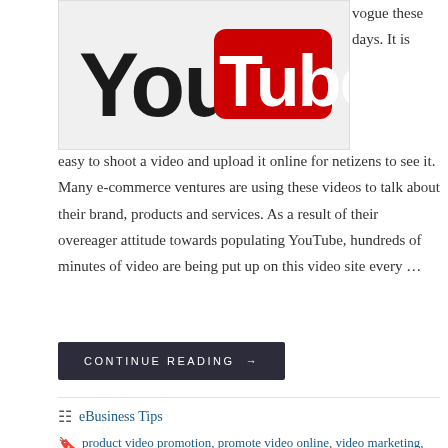[Figure (logo): YouTube logo partially visible at top of page]
vogue these days. It is easy to shoot a video and upload it online for netizens to see it. Many e-commerce ventures are using these videos to talk about their brand, products and services. As a result of their overeager attitude towards populating YouTube, hundreds of minutes of video are being put up on this video site every …
CONTINUE READING →
eBusiness Tips
product video promotion, promote video online, video marketing, youtbe video optimization, youtube marketing